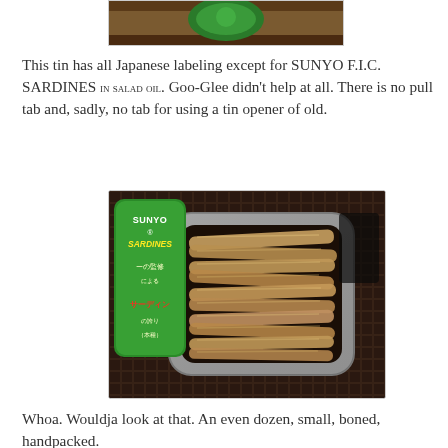[Figure (photo): Top portion of a sardine tin with green label, partially cropped at top of page]
This tin has all Japanese labeling except for SUNYO F.I.C. SARDINES IN SALAD OIL. Goo-Glee didn't help at all. There is no pull tab and, sadly, no tab for using a tin opener of old.
[Figure (photo): Opened tin of SUNYO SARDINES showing approximately a dozen small, boned, handpacked sardines arranged neatly in the tin with green label visible on left side. Photo taken on a dark grid/mesh background.]
Whoa. Wouldja look at that. An even dozen, small, boned, handpacked.
These little bites are quite tasty. Good texture, real smokey flavor. Would be great on a party platter, due to their size.